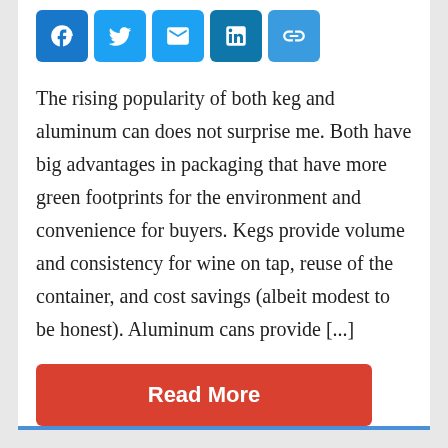[Figure (infographic): Social sharing icons: Facebook, Twitter, Email, LinkedIn, and a chain-link/copy icon, each in a rounded blue square button.]
The rising popularity of both keg and aluminum can does not surprise me. Both have big advantages in packaging that have more green footprints for the environment and convenience for buyers. Kegs provide volume and consistency for wine on tap, reuse of the container, and cost savings (albeit modest to be honest). Aluminum cans provide [...]
Read More